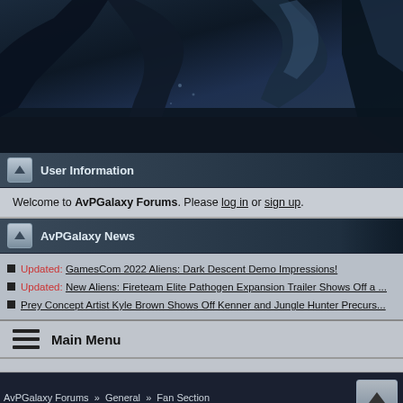[Figure (illustration): Dark sci-fi themed header banner with silhouetted figures against a dark blue/grey background]
User Information
Welcome to AvPGalaxy Forums. Please log in or sign up.
AvPGalaxy News
Updated: GamesCom 2022 Aliens: Dark Descent Demo Impressions!
Updated: New Aliens: Fireteam Elite Pathogen Expansion Trailer Shows Off a ...
Prey Concept Artist Kyle Brown Shows Off Kenner and Jungle Hunter Precurs...
Main Menu
AvPGalaxy Forums  »  General  »  Fan Section
» My ideas - sequel, xenomorph-like monsters, theories...